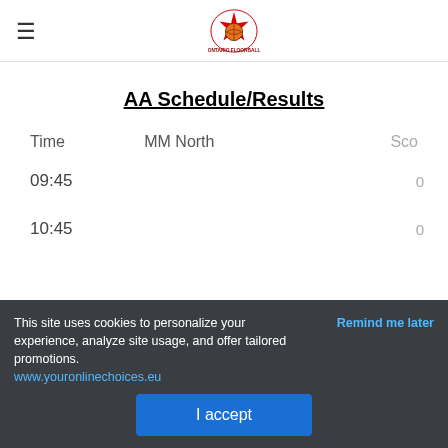OHFFBA logo and hamburger menu
AA Schedule/Results
| Time | MM North | Sco |
| --- | --- | --- |
| 09:45 |  | 0 |
| 10:45 |  | 0 |
This site uses cookies to personalize your experience, analyze site usage, and offer tailored promotions. www.youronlinechoices.eu
Remind me later
I accept